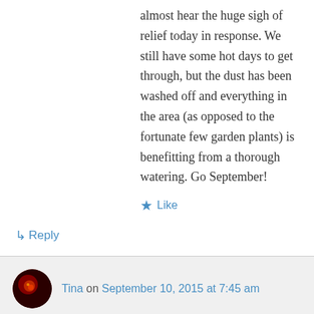almost hear the huge sigh of relief today in response. We still have some hot days to get through, but the dust has been washed off and everything in the area (as opposed to the fortunate few garden plants) is benefitting from a thorough watering. Go September!
Like
↵ Reply
Tina on September 10, 2015 at 7:45 am
Go September, indeed! I don't quite know how much rain I got, but Camp Mabry received and inch and I'm not too far away–regardless, it was a relief. And many thanks